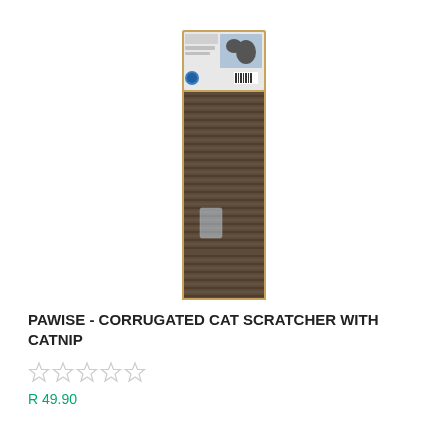[Figure (photo): Pawise corrugated cat scratcher product in a tall narrow cardboard box with brown corrugated scratching surface visible, product label at top]
PAWISE - CORRUGATED CAT SCRATCHER WITH CATNIP
☆☆☆☆☆
R 49.90